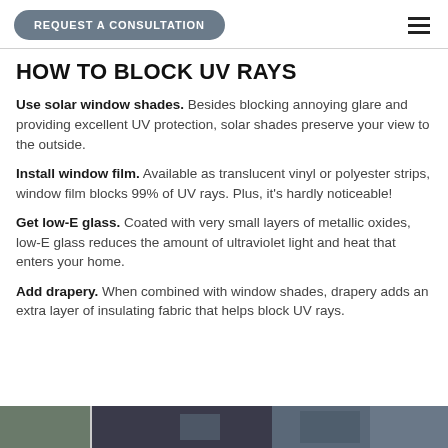REQUEST A CONSULTATION
HOW TO BLOCK UV RAYS
Use solar window shades. Besides blocking annoying glare and providing excellent UV protection, solar shades preserve your view to the outside.
Install window film. Available as translucent vinyl or polyester strips, window film blocks 99% of UV rays. Plus, it's hardly noticeable!
Get low-E glass. Coated with very small layers of metallic oxides, low-E glass reduces the amount of ultraviolet light and heat that enters your home.
Add drapery. When combined with window shades, drapery adds an extra layer of insulating fabric that helps block UV rays.
[Figure (photo): Partial photo strip at the bottom of the page showing window/interior scene]